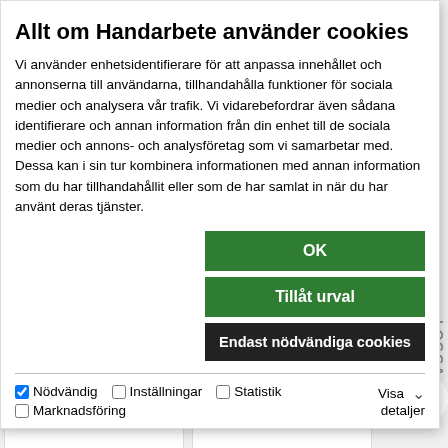Allt om Handarbete använder cookies
Vi använder enhetsidentifierare för att anpassa innehållet och annonserna till användarna, tillhandahålla funktioner för sociala medier och analysera vår trafik. Vi vidarebefordrar även sådana identifierare och annan information från din enhet till de sociala medier och annons- och analysföretag som vi samarbetar med. Dessa kan i sin tur kombinera informationen med annan information som du har tillhandahållit eller som de har samlat in när du har använt deras tjänster.
OK
Tillåt urval
Endast nödvändiga cookies
Nödvändig
Inställningar
Statistik
Marknadsföring
Visa detaljer
[Figure (photo): Product image showing lower body of person wearing khaki pants against blue background — Sweater product card]
Sweater
[Figure (photo): Product image showing partial view of jeans against light background — Jeans product card]
Jeans